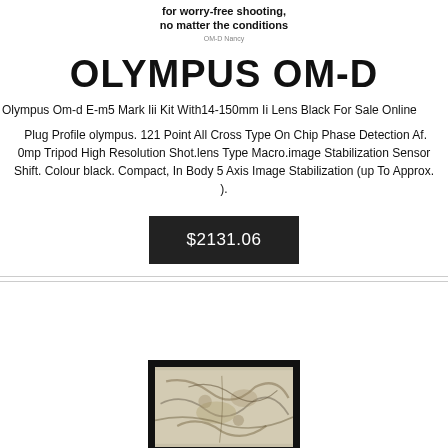for worry-free shooting, no matter the conditions
OLYMPUS OM-D
Olympus Om-d E-m5 Mark Iii Kit With14-150mm Ii Lens Black For Sale Online
Plug Profile olympus. 121 Point All Cross Type On Chip Phase Detection Af. 0mp Tripod High Resolution Shot.lens Type Macro.image Stabilization Sensor Shift. Colour black. Compact, In Body 5 Axis Image Stabilization (up To Approx. ).
$2131.06
[Figure (photo): Abstract art painting in a black frame]